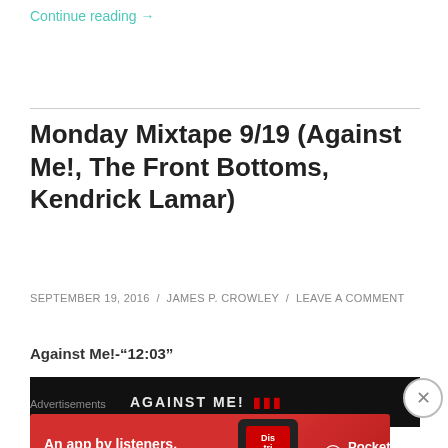Continue reading →
Monday Mixtape 9/19 (Against Me!, The Front Bottoms, Kendrick Lamar)
SEPTEMBER 19, 2016 / JAMES P. CROWLEY / LEAVE A COMMENT
Against Me!-"12:03"
[Figure (screenshot): Black video player bar showing 'AGAINST ME!' text]
Advertisements
[Figure (photo): Pocket Casts advertisement banner: 'An app by listeners, for listeners.' with phone image and Pocket Casts logo on red background]